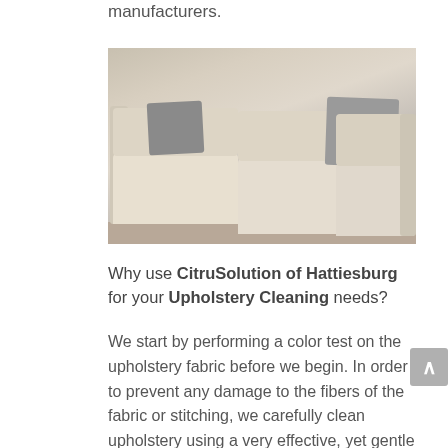manufacturers.
[Figure (photo): A modern white/cream sectional sofa with grey pillows against a dark blue background]
Why use CitruSolution of Hattiesburg for your Upholstery Cleaning needs?
We start by performing a color test on the upholstery fabric before we begin. In order to prevent any damage to the fibers of the fabric or stitching, we carefully clean upholstery using a very effective, yet gentle hand cleaning